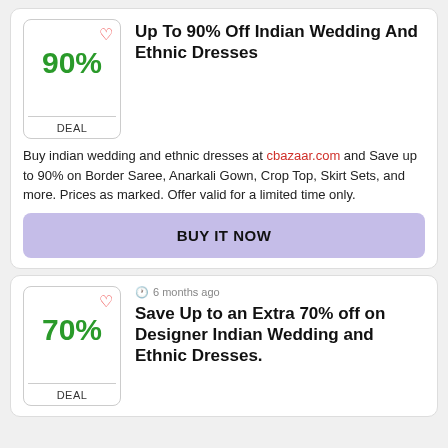Up To 90% Off Indian Wedding And Ethnic Dresses
Buy indian wedding and ethnic dresses at cbazaar.com and Save up to 90% on Border Saree, Anarkali Gown, Crop Top, Skirt Sets, and more. Prices as marked. Offer valid for a limited time only.
BUY IT NOW
Save Up to an Extra 70% off on Designer Indian Wedding and Ethnic Dresses.